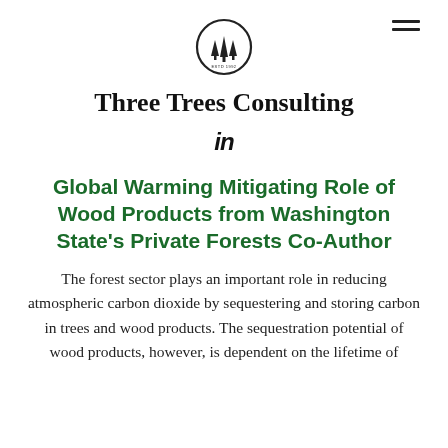[Figure (logo): Three Trees Consulting circular logo with trees inside]
Three Trees Consulting
[Figure (logo): LinkedIn 'in' badge icon]
Global Warming Mitigating Role of Wood Products from Washington State's Private Forests Co-Author
The forest sector plays an important role in reducing atmospheric carbon dioxide by sequestering and storing carbon in trees and wood products. The sequestration potential of wood products, however, is dependent on the lifetime of